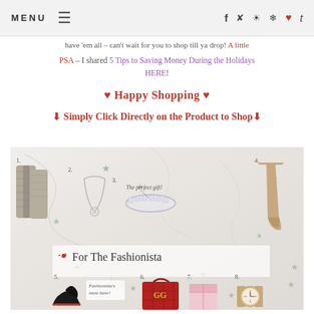MENU | social icons: f, twitter, instagram, pinterest, heart, tumblr
have 'em all – can't wait for you to shop till ya drop! A little PSA – I shared 5 Tips to Saving Money During the Holidays HERE!
♥ Happy Shopping ♥
⬇ Simply Click Directly on the Product to Shop⬇
[Figure (infographic): Fashion gift guide collage on marble background with stars. Items numbered 1-8: 1. Grey knit leg warmers, 2. Silver pendant necklace, 3. Crystal bracelet with 'The perfect gift!' label, 4. Tan over-the-knee boots, 5. Black patent Louboutin heels (Fashionista's must have!), 6. Red Gucci marmont bag, 7. Pink gift box, 8. Rose gold watch. Text reads 'For The Fashionista' with bow icon.]